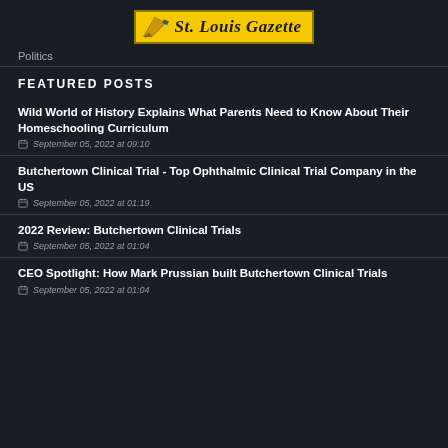St. Louis Gazette
Politics
FEATURED POSTS
Wild World of History Explains What Parents Need to Know About Their Homeschooling Curriculum — September 05, 2022 at 09:10
Butchertown Clinical Trial - Top Ophthalmic Clinical Trial Company in the US — September 05, 2022 at 01:19
2022 Review: Butchertown Clinical Trials — September 05, 2022 at 01:04
CEO Spotlight: How Mark Prussian built Butchertown Clinical Trials — September 05, 2022 at 01:04